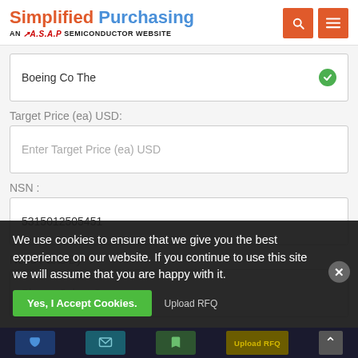Simplified Purchasing — AN A.S.A.P SEMICONDUCTOR WEBSITE
Boeing Co The
Target Price (ea) USD:
Enter Target Price (ea) USD
NSN :
5315012505451
Need Parts By *:
Please Select One
We use cookies to ensure that we give you the best experience on our website. If you continue to use this site we will assume that you are happy with it.
Yes, I Accept Cookies.
Upload RFQ